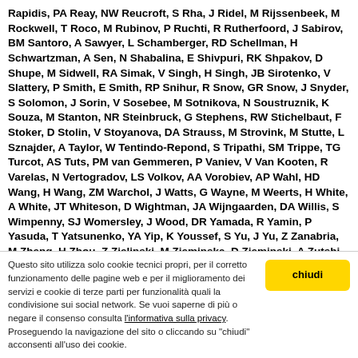Rapidis, PA Reay, NW Reucroft, S Rha, J Ridel, M Rijssenbeek, M Rockwell, T Roco, M Rubinov, P Ruchti, R Rutherfoord, J Sabirov, BM Santoro, A Sawyer, L Schamberger, RD Schellman, H Schwartzman, A Sen, N Shabalina, E Shivpuri, RK Shpakov, D Shupe, M Sidwell, RA Simak, V Singh, H Singh, JB Sirotenko, V Slattery, P Smith, E Smith, RP Snihur, R Snow, GR Snow, J Snyder, S Solomon, J Sorin, V Sosebee, M Sotnikova, N Soustruznik, K Souza, M Stanton, NR Steinbruck, G Stephens, RW Stichelbaut, F Stoker, D Stolin, V Stoyanova, DA Strauss, M Strovink, M Stutte, L Sznajder, A Taylor, W Tentindo-Repond, S Tripathi, SM Trippe, TG Turcot, AS Tuts, PM van Gemmeren, P Vaniev, V Van Kooten, R Varelas, N Vertogradov, LS Volkov, AA Vorobiev, AP Wahl, HD Wang, H Wang, ZM Warchol, J Watts, G Wayne, M Weerts, H White, A White, JT Whiteson, D Wightman, JA Wijngaarden, DA Willis, S Wimpenny, SJ Womersley, J Wood, DR Yamada, R Yamin, P Yasuda, T Yatsunenko, YA Yip, K Youssef, S Yu, J Yu, Z Zanabria, M Zheng, H Zhou, Z Zielinski, M Zieminska, D Zieminski, A Zutshi, V Zverev, EG Zylberstejn, A
Questo sito utilizza solo cookie tecnici propri, per il corretto funzionamento delle pagine web e per il miglioramento dei servizi e cookie di terze parti per funzionalità quali la condivisione sui social network. Se vuoi saperne di più o negare il consenso consulta l'informativa sulla privacy. Proseguendo la navigazione del sito o cliccando su "chiudi" acconsenti all'uso dei cookie.